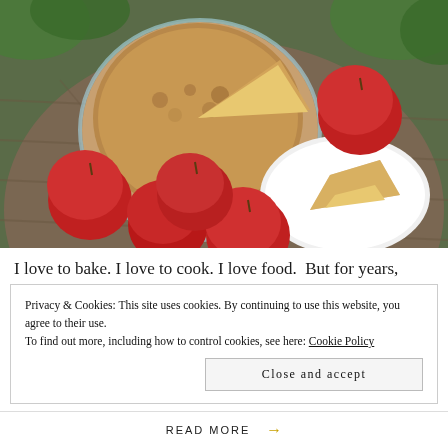[Figure (photo): Apple pie in a glass dish with a slice removed, placed on a round wooden outdoor table surrounded by several red apples. A slice of pie on a white plate is visible at bottom right. Green foliage in background.]
I love to bake. I love to cook. I love food.  But for years,
Privacy & Cookies: This site uses cookies. By continuing to use this website, you agree to their use.
To find out more, including how to control cookies, see here: Cookie Policy
Close and accept
READ MORE →